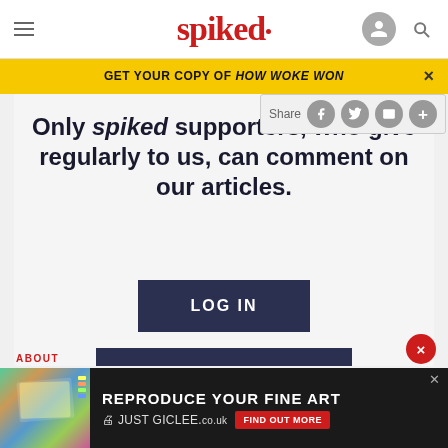spiked
GET YOUR COPY OF HOW WOKE WON
Only spiked supporters, who give regularly to us, can comment on our articles.
LOG IN
BECOME A SPIKED SUPPORTER
[Figure (screenshot): Advertisement banner: REPRODUCE YOUR FINE ART JUST GICLEE.co.uk with FIND OUT MORE button]
ABOUT